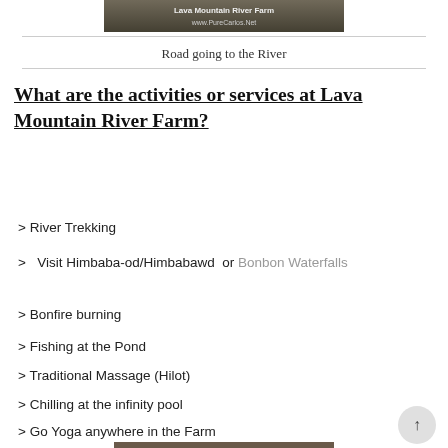[Figure (photo): Photo banner showing Lava Mountain River Farm with text overlay 'Lava Mountain River Farm www.PureCarlos.Net']
Road going to the River
What are the activities or services at Lava Mountain River Farm?
> River Trekking
> Visit Himbaba-od/Himbabawd or Bonbon Waterfalls
> Bonfire burning
> Fishing at the Pond
> Traditional Massage (Hilot)
> Chilling at the infinity pool
> Go Yoga anywhere in the Farm
[Figure (photo): Photo at the bottom of the page showing Lava Mountain River Farm scenery]